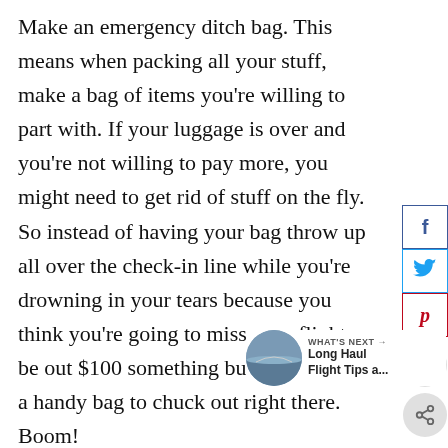Make an emergency ditch bag. This means when packing all your stuff, make a bag of items you're willing to part with. If your luggage is over and you're not willing to pay more, you might need to get rid of stuff on the fly. So instead of having your bag throw up all over the check-in line while you're drowning in your tears because you think you're going to miss your flight or be out $100 something bucks, just make a handy bag to chuck out right there. Boom!
If you have room in your carry-on, y... just pop that bag in your carry on as well.
[Figure (infographic): Social media sharing buttons: Facebook (f), Twitter (bird), Pinterest (p), heart/save button, share button arranged vertically on the right side]
[Figure (infographic): What's Next promo widget with a circular photo thumbnail of an airplane/sky scene, labeled 'WHAT'S NEXT ->' with title 'Long Haul Flight Tips a...']